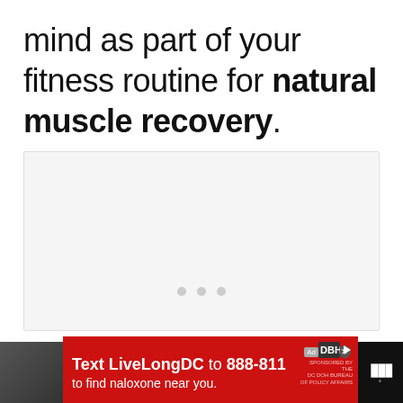mind as part of your fitness routine for natural muscle recovery.
[Figure (other): Light gray placeholder advertisement box with three small dots at the bottom center indicating a loading or carousel state.]
[Figure (infographic): Advertisement banner: black background on left with partially visible syringe/naloxone image, red background with text 'Text LiveLongDC to 888-811 to find naloxone near you.' with DBH logo and sponsor text, and Tubi logo on the right.]